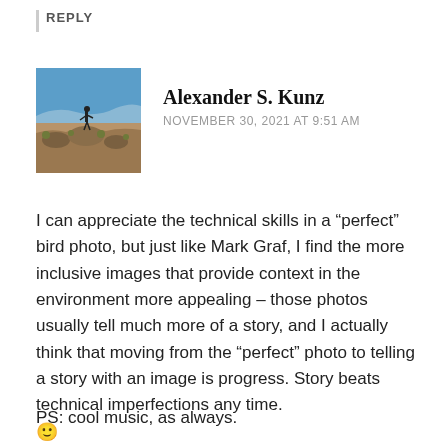REPLY
Alexander S. Kunz
NOVEMBER 30, 2021 AT 9:51 AM
[Figure (photo): Profile photo of Alexander S. Kunz standing on rocky desert outcrop with wide landscape view, blue sky, desert shrubs]
I can appreciate the technical skills in a “perfect” bird photo, but just like Mark Graf, I find the more inclusive images that provide context in the environment more appealing – those photos usually tell much more of a story, and I actually think that moving from the “perfect” photo to telling a story with an image is progress. Story beats technical imperfections any time. 🙂
PS: cool music, as always.